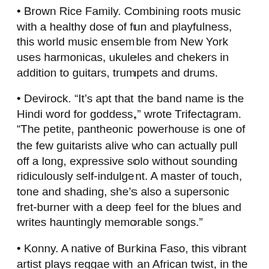Brown Rice Family. Combining roots music with a healthy dose of fun and playfulness, this world music ensemble from New York uses harmonicas, ukuleles and chekers in addition to guitars, trumpets and drums.
Devirock. “It’s apt that the band name is the Hindi word for goddess,” wrote Trifectagram. “The petite, pantheonic powerhouse is one of the few guitarists alive who can actually pull off a long, expressive solo without sounding ridiculously self-indulgent. A master of touch, tone and shading, she’s also a supersonic fret-burner with a deep feel for the blues and writes hauntingly memorable songs.”
Konny. A native of Burkina Faso, this vibrant artist plays reggae with an African twist, in the tradition of Alpha Blondy and Tiken Jah Fakoly. His music calls for peace and reconciliation.